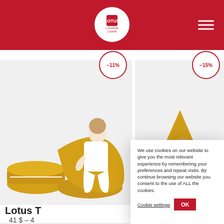LOTUS Lounge Chair
[Figure (photo): Woman in white sitting on yellow/mustard bean bag chair with round ottoman, product photo on white background]
[Figure (photo): Woman in white lounging on large yellow/mustard triangular floor cushion, product photo on white background]
Lotus T
41 $ – 4
[Figure (photo): Woman wrapped in yellow/mustard large bag floor cushion, product photo on white background, partially visible]
We use cookies on our website to give you the most relevant experience by remembering your preferences and repeat visits. By continue browsing our website you consent to the use of ALL the cookies.
Cookie settings
OK